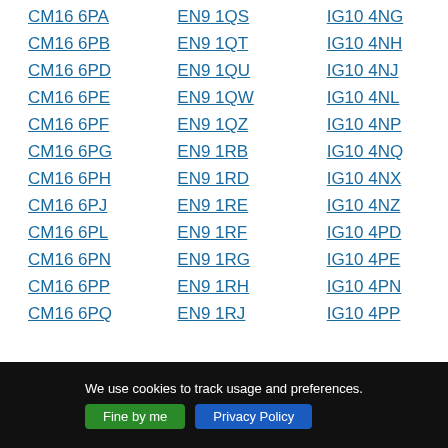CM16 6PA
CM16 6PB
CM16 6PD
CM16 6PE
CM16 6PF
CM16 6PG
CM16 6PH
CM16 6PJ
CM16 6PL
CM16 6PN
CM16 6PP
CM16 6PQ
EN9 1QS
EN9 1QT
EN9 1QU
EN9 1QW
EN9 1QZ
EN9 1RB
EN9 1RD
EN9 1RE
EN9 1RF
EN9 1RG
EN9 1RH
EN9 1RJ
IG10 4NG
IG10 4NH
IG10 4NJ
IG10 4NL
IG10 4NP
IG10 4NQ
IG10 4NX
IG10 4NZ
IG10 4PD
IG10 4PE
IG10 4PN
IG10 4PP
We use cookies to track usage and preferences. Fine by me  Privacy Policy